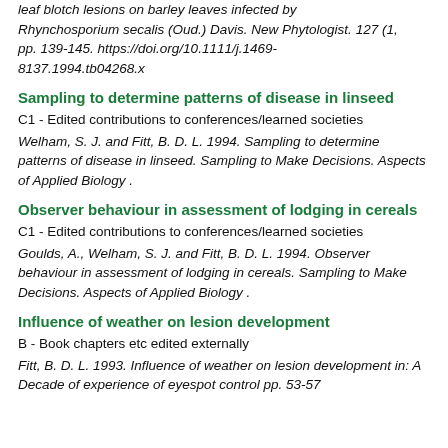leaf blotch lesions on barley leaves infected by Rhynchosporium secalis (Oud.) Davis. New Phytologist. 127 (1), pp. 139-145. https://doi.org/10.1111/j.1469-8137.1994.tb04268.x
Sampling to determine patterns of disease in linseed
C1 - Edited contributions to conferences/learned societies
Welham, S. J. and Fitt, B. D. L. 1994. Sampling to determine patterns of disease in linseed. Sampling to Make Decisions. Aspects of Applied Biology .
Observer behaviour in assessment of lodging in cereals
C1 - Edited contributions to conferences/learned societies
Goulds, A., Welham, S. J. and Fitt, B. D. L. 1994. Observer behaviour in assessment of lodging in cereals. Sampling to Make Decisions. Aspects of Applied Biology .
Influence of weather on lesion development
B - Book chapters etc edited externally
Fitt, B. D. L. 1993. Influence of weather on lesion development in: A Decade of experience of eyespot control pp. 53-57